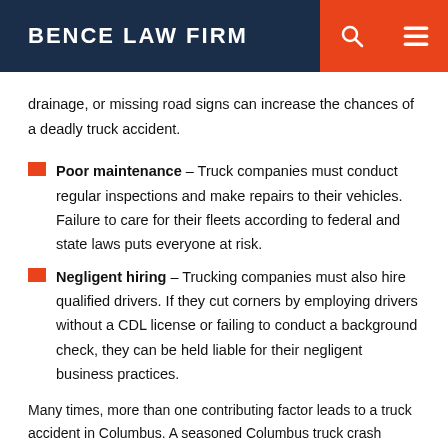BENCE LAW FIRM
drainage, or missing road signs can increase the chances of a deadly truck accident.
Poor maintenance – Truck companies must conduct regular inspections and make repairs to their vehicles. Failure to care for their fleets according to federal and state laws puts everyone at risk.
Negligent hiring – Trucking companies must also hire qualified drivers. If they cut corners by employing drivers without a CDL license or failing to conduct a background check, they can be held liable for their negligent business practices.
Many times, more than one contributing factor leads to a truck accident in Columbus. A seasoned Columbus truck crash attorney can investigate your case to determine what happened and who should be held responsible for your injuries.